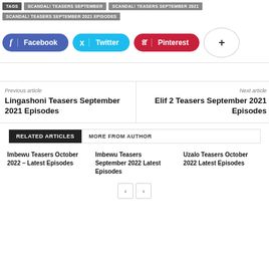TAGS | SCANDAL! TEASERS SEPTEMBER | SCANDAL! TEASERS SEPTEMBER 2021 | SCANDAL! TEASERS SEPTEMBER 2021 EPISODES
[Figure (infographic): Social sharing buttons: Facebook (blue), Twitter (cyan), Pinterest (red), and a plus/more button (white with border)]
Previous article
Lingashoni Teasers September 2021 Episodes
Next article
Elif 2 Teasers September 2021 Episodes
RELATED ARTICLES | MORE FROM AUTHOR
Imbewu Teasers October 2022 – Latest Episodes
Imbewu Teasers September 2022 Latest Episodes
Uzalo Teasers October 2022 Latest Episodes